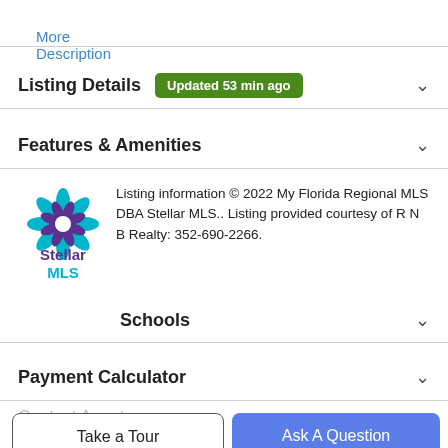More Description
Listing Details  Updated 53 min ago
Features & Amenities
Listing information © 2022 My Florida Regional MLS DBA Stellar MLS.. Listing provided courtesy of R N B Realty: 352-690-2266.
Schools
Payment Calculator
Contact Agent
Take a Tour
Ask A Question